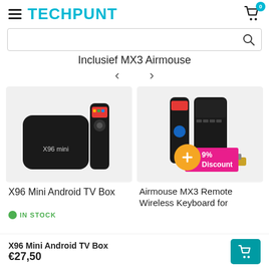TECHPUNT
Inclusief MX3 Airmouse
[Figure (photo): X96 Mini Android TV Box product photo with remote control]
[Figure (photo): Airmouse MX3 Remote Wireless Keyboard product photo with discount badge showing 9% Discount]
X96 Mini Android TV Box
IN STOCK
Airmouse MX3 Remote Wireless Keyboard for
X96 Mini Android TV Box €27,50